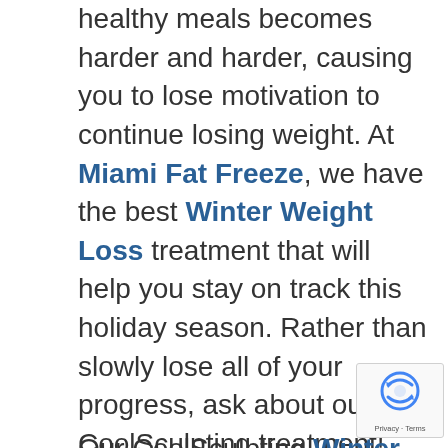healthy meals becomes harder and harder, causing you to lose motivation to continue losing weight. At Miami Fat Freeze, we have the best Winter Weight Loss treatment that will help you stay on track this holiday season. Rather than slowly lose all of your progress, ask about our CoolSculpting treatment!
Our CoolSculpting Winter Weight Loss treatment works by using targeted cooling plates to freeze excess fat cells in problem areas on your body, such as your thighs, upper arms, buttocks, and stomach. When these fat cells are killed, your body naturally disposes of them to make you look slimmer and healthier. Since this treatment relies on your body's natural processes, it is the best way to naturally and effectively lose excess fat without having to starve or overwork yourself.
[Figure (logo): reCAPTCHA badge with Google logo and Privacy - Terms text]